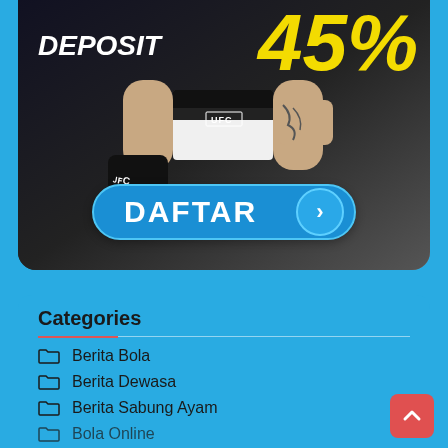[Figure (illustration): UFC fighter promotional banner with 'DEPOSIT' text, large yellow number, and a blue DAFTAR (Register) call-to-action button with a right arrow]
Categories
Berita Bola
Berita Dewasa
Berita Sabung Ayam
Bola Online